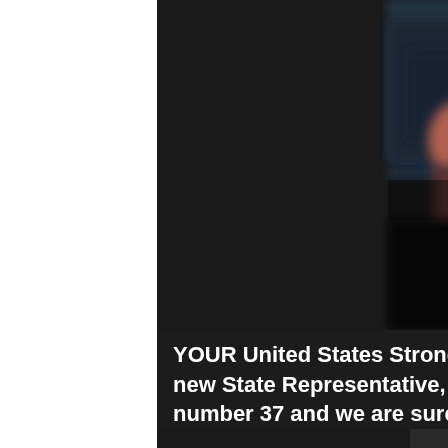[Figure (photo): A blurry/out-of-focus photo of a person standing in what appears to be a dark indoor gym or parking area. The figure is wearing dark athletic clothing and appears to be in a strongman competition context. The background shows a dark vehicle and a light-colored wall.]
YOUR United States Strongman is proud to welcome Oregon and new State Representative, Andrew Lehti. Oregon makes State number 37 and we are sure proud to have more USS